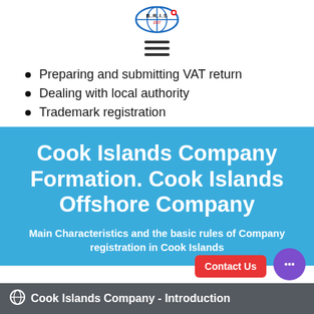[Figure (logo): B.R.I.S logo with globe icon and text]
[Figure (other): Hamburger menu icon (three horizontal lines)]
Preparing and submitting VAT return
Dealing with local authority
Trademark registration
Cook Islands Company Formation. Cook Islands Offshore Company
Main Characteristics and the basic rules of Company registration in Cook Islands
Cook Islands Company - Introduction